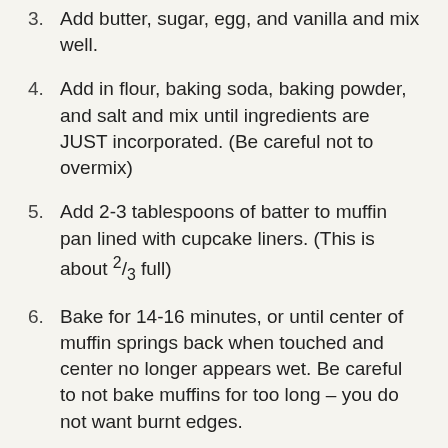3. Add butter, sugar, egg, and vanilla and mix well.
4. Add in flour, baking soda, baking powder, and salt and mix until ingredients are JUST incorporated. (Be careful not to overmix)
5. Add 2-3 tablespoons of batter to muffin pan lined with cupcake liners. (This is about ⅔ full)
6. Bake for 14-16 minutes, or until center of muffin springs back when touched and center no longer appears wet. Be careful to not bake muffins for too long – you do not want burnt edges.
7. Remove muffins from oven and let sit for a few minutes before serving.